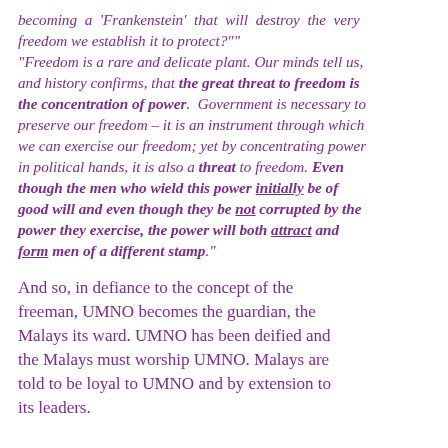becoming a 'Frankenstein' that will destroy the very freedom we establish it to protect?"" "Freedom is a rare and delicate plant. Our minds tell us, and history confirms, that the great threat to freedom is the concentration of power. Government is necessary to preserve our freedom – it is an instrument through which we can exercise our freedom; yet by concentrating power in political hands, it is also a threat to freedom. Even though the men who wield this power initially be of good will and even though they be not corrupted by the power they exercise, the power will both attract and form men of a different stamp."
And so, in defiance to the concept of the freeman, UMNO becomes the guardian, the Malays its ward. UMNO has been deified and the Malays must worship UMNO. Malays are told to be loyal to UMNO and by extension to its leaders.